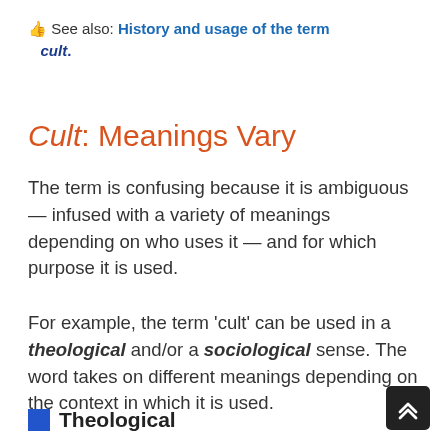👍 See also: History and usage of the term cult.
Cult: Meanings Vary
The term is confusing because it is ambiguous — infused with a variety of meanings depending on who uses it — and for which purpose it is used.
For example, the term 'cult' can be used in a theological and/or a sociological sense. The word takes on different meanings depending on the context in which it is used.
Theological